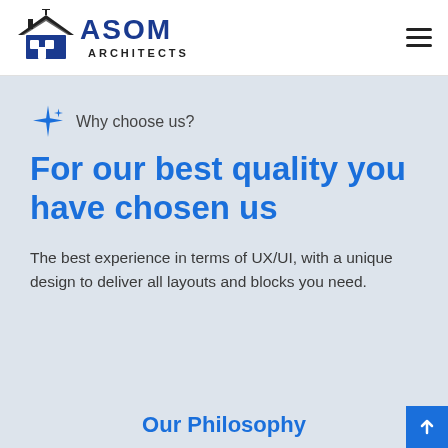[Figure (logo): ASOM Architects logo with house/building icon and bold blue ASOM text with ARCHITECTS below]
Why choose us?
For our best quality you have chosen us
The best experience in terms of UX/UI, with a unique design to deliver all layouts and blocks you need.
Our Philosophy